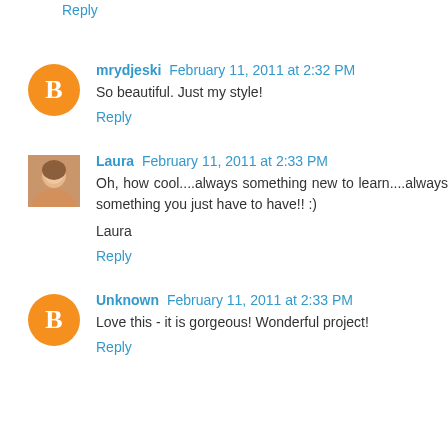Reply
mrydjeski February 11, 2011 at 2:32 PM
So beautiful. Just my style!
Reply
Laura February 11, 2011 at 2:33 PM
Oh, how cool....always something new to learn....always something you just have to have!! :)
Laura
Reply
Unknown February 11, 2011 at 2:33 PM
Love this - it is gorgeous! Wonderful project!
Reply